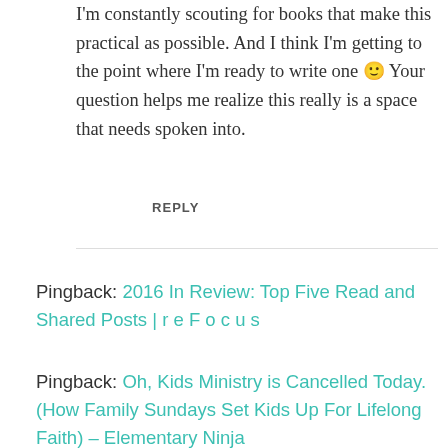I'm constantly scouting for books that make this practical as possible. And I think I'm getting to the point where I'm ready to write one 🙂 Your question helps me realize this really is a space that needs spoken into.
REPLY
Pingback: 2016 In Review: Top Five Read and Shared Posts | r e F o c u s
Pingback: Oh, Kids Ministry is Cancelled Today. (How Family Sundays Set Kids Up For Lifelong Faith) – Elementary Ninja